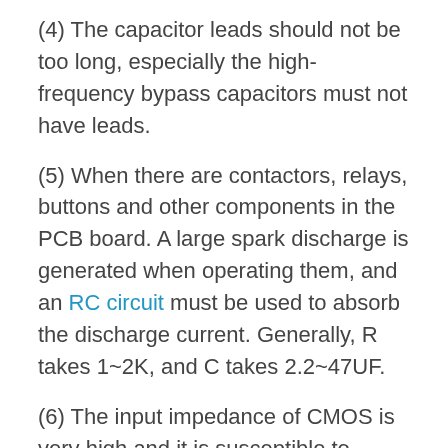(4) The capacitor leads should not be too long, especially the high-frequency bypass capacitors must not have leads.
(5) When there are contactors, relays, buttons and other components in the PCB board. A large spark discharge is generated when operating them, and an RC circuit must be used to absorb the discharge current. Generally, R takes 1~2K, and C takes 2.2~47UF.
(6) The input impedance of CMOS is very high and it is susceptible to induction. Therefore, it is necessary to ground or connect the power supply to the unused terminal during use.
Related Posts:
1. Improvement measures for short